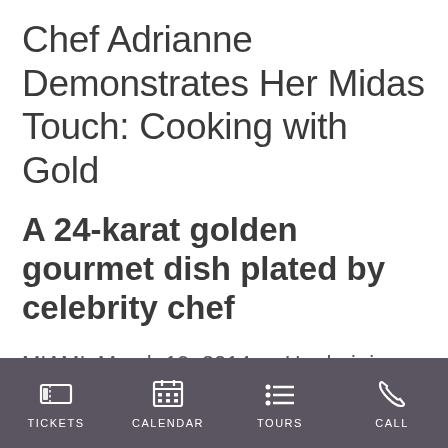Chef Adrianne Demonstrates Her Midas Touch: Cooking with Gold
A 24-karat golden gourmet dish plated by celebrity chef
MIAMI, March 19, 2014 — Her hair is flaming red, and her gourmet dishes are outlandishly creative and deviously delicious. And now, award-winning
TICKETS  CALENDAR  TOURS  CALL